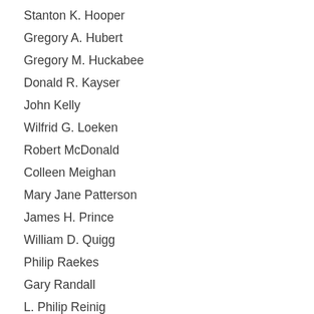Stanton K. Hooper
Gregory A. Hubert
Gregory M. Huckabee
Donald R. Kayser
John Kelly
Wilfrid G. Loeken
Robert McDonald
Colleen Meighan
Mary Jane Patterson
James H. Prince
William D. Quigg
Philip Raekes
Gary Randall
L. Philip Reinig
Patricia (Trish) Smith
Albert A. Stadtmueller
Charles H. Steilen
David Taylor